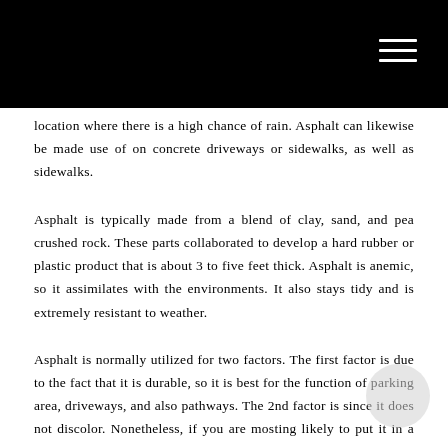…p…p… …gg… …y… …y… location where there is a high chance of rain. Asphalt can likewise be made use of on concrete driveways or sidewalks, as well as sidewalks.
Asphalt is typically made from a blend of clay, sand, and pea crushed rock. These parts collaborated to develop a hard rubber or plastic product that is about 3 to five feet thick. Asphalt is anemic, so it assimilates with the environments. It also stays tidy and is extremely resistant to weather.
Asphalt is normally utilized for two factors. The first factor is due to the fact that it is durable, so it is best for the function of parking area, driveways, and also pathways. The 2nd factor is since it does not discolor. Nonetheless, if you are mosting likely to put it in a parking area, you need to remember that it will be subjected to weather and also it